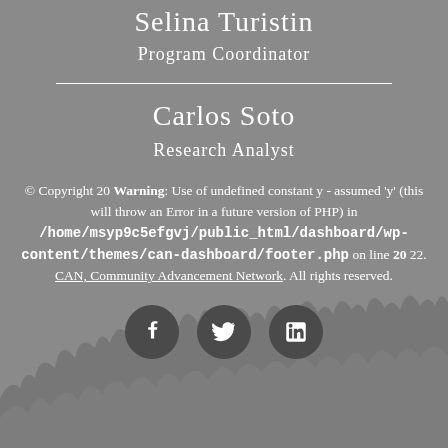Selina Turistin
Program Coordinator
Carlos Soto
Research Analyst
© Copyright 20 Warning: Use of undefined constant y - assumed 'y' (this will throw an Error in a future version of PHP) in /home/msyp9c5efgvj/public_html/dashboard/wp-content/themes/can-dashboard/footer.php on line 20 22. CAN, Community Advancement Network. All rights reserved.
[Figure (other): Social media icon buttons for Facebook, Twitter, and LinkedIn]